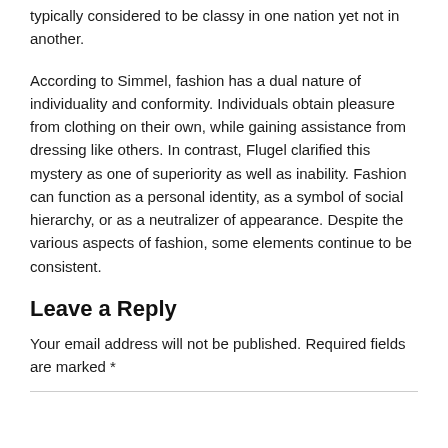typically considered to be classy in one nation yet not in another.
According to Simmel, fashion has a dual nature of individuality and conformity. Individuals obtain pleasure from clothing on their own, while gaining assistance from dressing like others. In contrast, Flugel clarified this mystery as one of superiority as well as inability. Fashion can function as a personal identity, as a symbol of social hierarchy, or as a neutralizer of appearance. Despite the various aspects of fashion, some elements continue to be consistent.
Leave a Reply
Your email address will not be published. Required fields are marked *